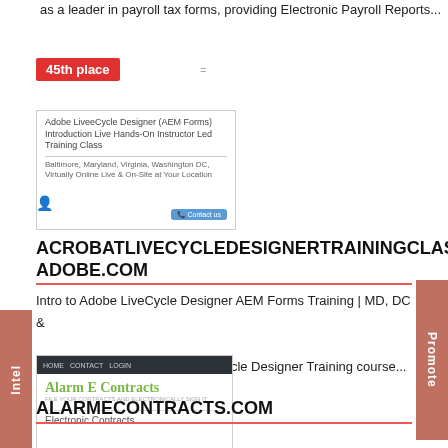as a leader in payroll tax forms, providing Electronic Payroll Reports...
45th place
[Figure (screenshot): Screenshot of Adobe LiveCycle Designer (AEM Forms) Introduction Live Hands-On Instructor Led Training Class listing, showing location: Baltimore, Maryland, Virginia, Washington DC, Virtually Online Live & On-Site at Your Location, with a Contact us button.]
ACROBATLIVECYCLEDESIGNERTRAININGCLASSESONLINEADOBE.COM
Intro to Adobe LiveCycle Designer AEM Forms Training | MD, DC & Online. The Intro to Adobe LiveCycle Designer Training course...
th place
[Figure (screenshot): Screenshot of Alarm E Contracts website showing logo in green text, tagline, and Electronic Contracts section on dark navigation bar.]
ALARMECONTRACTS.COM
Intel
Promote